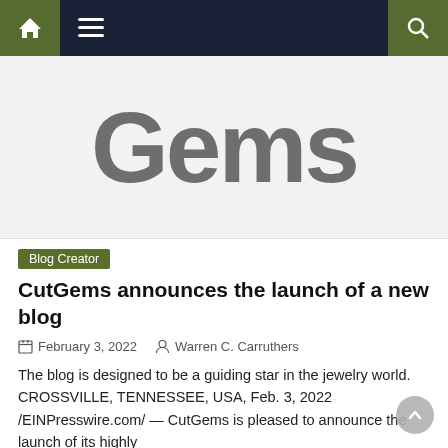Navigation bar with home icon, menu icon, and search icon
[Figure (logo): Large grey bold 'Gems' logo text on light grey background]
Blog Creator
CutGems announces the launch of a new blog
February 3, 2022   Warren C. Carruthers
The blog is designed to be a guiding star in the jewelry world. CROSSVILLE, TENNESSEE, USA, Feb. 3, 2022 /EINPresswire.com/ — CutGems is pleased to announce the launch of its highly